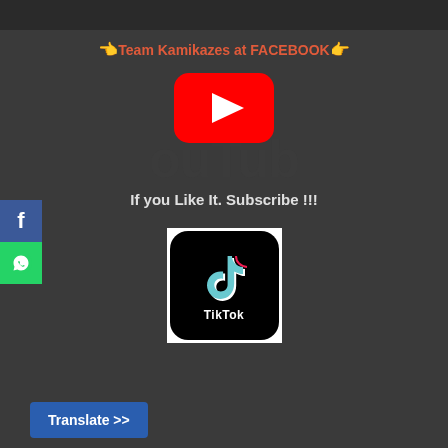👈Team Kamikazes at FACEBOOK👉
[Figure (logo): YouTube logo with red rounded rectangle and white play button triangle, with large semi-transparent 'ouTub' text behind it]
If you Like It. Subscribe !!!
[Figure (logo): TikTok app icon — black rounded square with TikTok musical note logo in cyan/red/white and 'TikTok' text below]
Translate >>